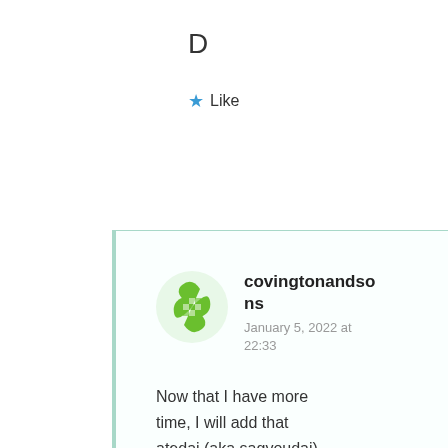D
★ Like
covingtonandsons
January 5, 2022 at 22:33
Now that I have more time, I will add that atedai (aka sagyoudai) dimensions are different from person to person